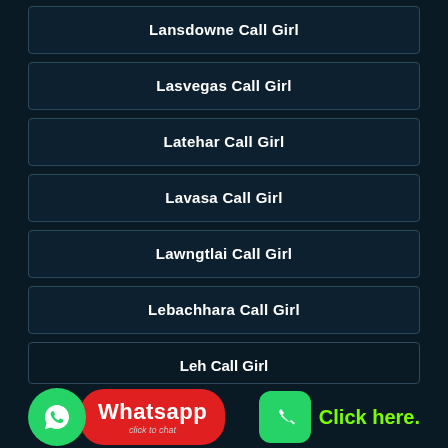Lansdowne Call Girl
Lasvegas Call Girl
Latehar Call Girl
Lavasa Call Girl
Lawngtlai Call Girl
Lebachhara Call Girl
Leh Call Girl
Call Vanishka Now - 8890799022
WhatsApp To Vanishka - 8890799022